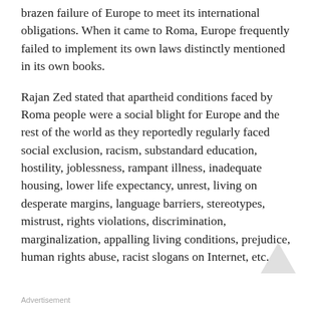brazen failure of Europe to meet its international obligations. When it came to Roma, Europe frequently failed to implement its own laws distinctly mentioned in its own books.
Rajan Zed stated that apartheid conditions faced by Roma people were a social blight for Europe and the rest of the world as they reportedly regularly faced social exclusion, racism, substandard education, hostility, joblessness, rampant illness, inadequate housing, lower life expectancy, unrest, living on desperate margins, language barriers, stereotypes, mistrust, rights violations, discrimination, marginalization, appalling living conditions, prejudice, human rights abuse, racist slogans on Internet, etc.
Advertisement